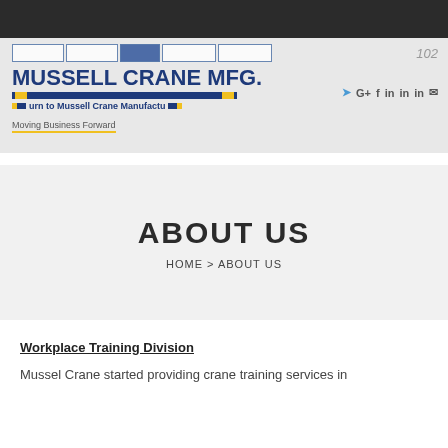[Figure (logo): Mussell Crane Mfg. company logo with navigation bar, tagline 'Moving Business Forward', and social media icons. Page number 102 visible in top right.]
ABOUT US
HOME > ABOUT US
Workplace Training Division
Mussel Crane started providing crane training services in